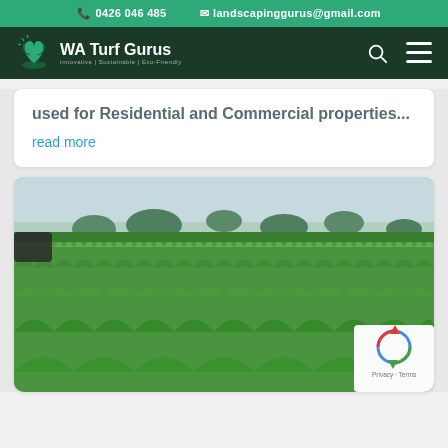0426 046 485  landscapinggurus@gmail.com
[Figure (logo): WA Turf Gurus logo with plant icon and tagline 'Innovative | Sustainable | Eco-friendly']
used for Residential and Commercial properties...
read more
[Figure (photo): Close-up photo of lush green turf/grass lawn with trees in the background and a dark pot visible at top left]